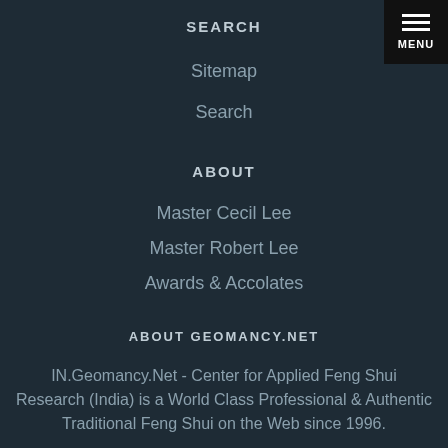SEARCH
Sitemap
Search
ABOUT
Master Cecil Lee
Master Robert Lee
Awards & Accolates
ABOUT GEOMANCY.NET
IN.Geomancy.Net - Center for Applied Feng Shui Research (India) is a World Class Professional & Authentic Traditional Feng Shui on the Web since 1996.